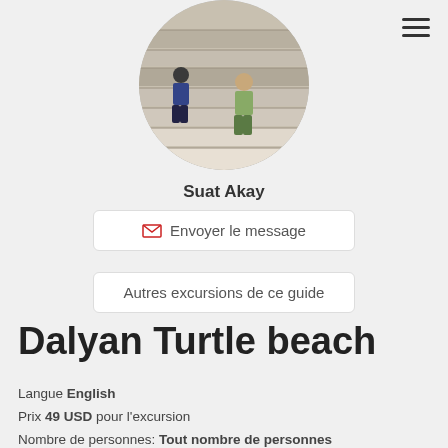[Figure (photo): Circular profile photo of a person at ancient stone steps/amphitheatre ruins]
Suat Akay
Envoyer le message
Autres excursions de ce guide
Dalyan Turtle beach
Langue English
Prix 49 USD pour l'excursion
Nombre de personnes: Tout nombre de personnes
Durée 12 heures